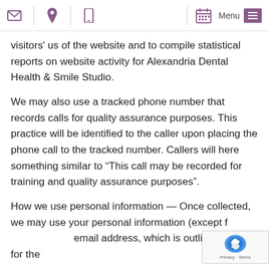[Navigation bar with envelope, location pin, phone icons on left; calendar icon and Menu button on right]
visitors' us of the website and to compile statistical reports on website activity for Alexandria Dental Health & Smile Studio.
We may also use a tracked phone number that records calls for quality assurance purposes. This practice will be identified to the caller upon placing the phone call to the tracked number. Callers will here something similar to “This call may be recorded for training and quality assurance purposes”.
How we use personal information — Once collected, we may use your personal information (except for email address, which is outlined below) for the following: